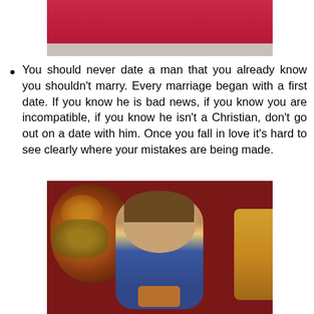[Figure (photo): Top portion of a photo showing a person in a red/pink dress, partially cropped, with a light floor visible at the bottom.]
You should never date a man that you already know you shouldn't marry.  Every marriage began with a first date.  If you know he is bad news, if you know you are incompatible, if you know he isn't a Christian, don't go out on a date with him.  Once you fall in love it's hard to see clearly where your mistakes are being made.
[Figure (photo): A smiling toddler girl with pigtails, wearing a yellow shirt and denim jumper, sitting on a dark red sofa surrounded by fall floral decorations (orange and yellow flowers). She is holding something orange.]